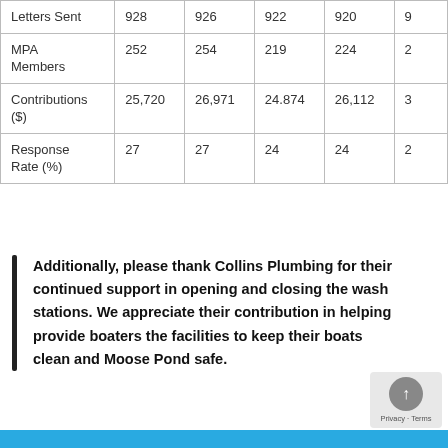| Letters Sent | 928 | 926 | 922 | 920 | 9 |
| MPA Members | 252 | 254 | 219 | 224 | 2 |
| Contributions ($) | 25,720 | 26,971 | 24.874 | 26,112 | 3 |
| Response Rate (%) | 27 | 27 | 24 | 24 | 2 |
Additionally, please thank Collins Plumbing for their continued support in opening and closing the wash stations. We appreciate their contribution in helping provide boaters the facilities to keep their boats clean and Moose Pond safe.